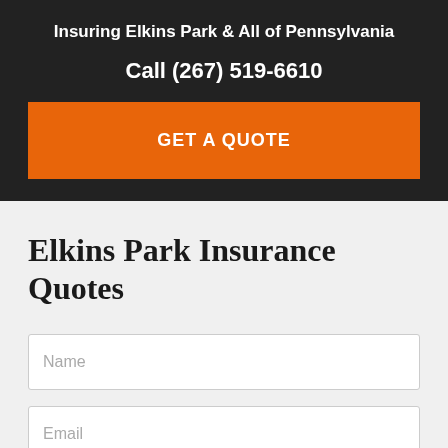Insuring Elkins Park & All of Pennsylvania
Call (267) 519-6610
GET A QUOTE
Elkins Park Insurance Quotes
Name
Email